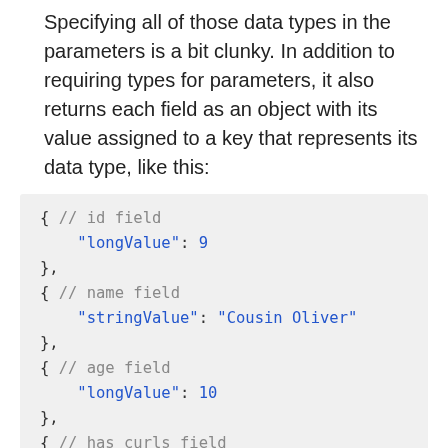Specifying all of those data types in the parameters is a bit clunky. In addition to requiring types for parameters, it also returns each field as an object with its value assigned to a key that represents its data type, like this:
[Figure (other): Code block showing JSON-like structure with id field longValue: 9, name field stringValue: "Cousin Oliver", age field longValue: 10, has_curls field (truncated)]